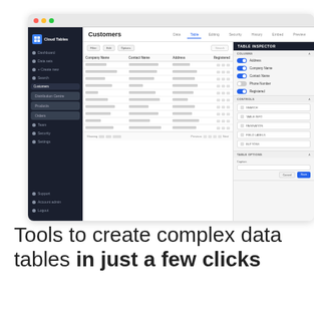[Figure (screenshot): Screenshot of Cloud Tables web application showing a Customers data table with a Table Inspector panel on the right side. The interface has a dark sidebar with navigation items (Dashboard, Data sets, Create new, Search, Customers, Distribution Centre, Products, Orders, Team, Security, Settings, Support, Account admin, Logout), a top navigation with tabs (Data, Table, Editing, Security, History, Embed, Preview), a data table with columns Company Name, Contact Name, Address, Registered, and a right-side Table Inspector panel showing column toggles for Address, Company Name, Contact Name, Phone Number, Registered, plus controls for SEARCH, TABLE INFO, PAGINATION, FIELD LABELS, BUTTONS, and TABLE OPTIONS with Caption field.]
Tools to create complex data tables in just a few clicks